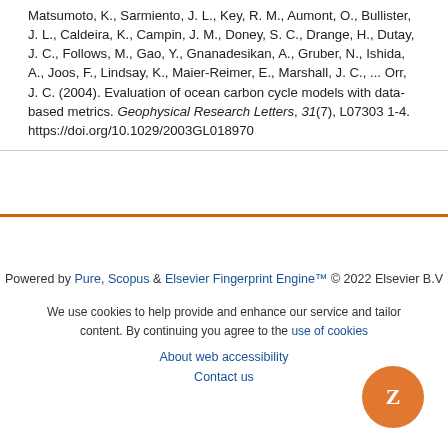Matsumoto, K., Sarmiento, J. L., Key, R. M., Aumont, O., Bullister, J. L., Caldeira, K., Campin, J. M., Doney, S. C., Drange, H., Dutay, J. C., Follows, M., Gao, Y., Gnanadesikan, A., Gruber, N., Ishida, A., Joos, F., Lindsay, K., Maier-Reimer, E., Marshall, J. C., ... Orr, J. C. (2004). Evaluation of ocean carbon cycle models with data-based metrics. Geophysical Research Letters, 31(7), L07303 1-4. https://doi.org/10.1029/2003GL018970
Powered by Pure, Scopus & Elsevier Fingerprint Engine™ © 2022 Elsevier B.V
We use cookies to help provide and enhance our service and tailor content. By continuing you agree to the use of cookies
About web accessibility
Contact us